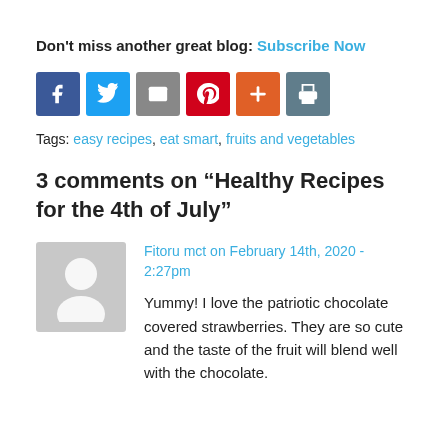Don't miss another great blog: Subscribe Now
[Figure (other): Social share buttons: Facebook, Twitter, Email, Pinterest, Plus, Print]
Tags: easy recipes, eat smart, fruits and vegetables
3 comments on “Healthy Recipes for the 4th of July”
[Figure (other): Gray avatar placeholder showing silhouette of a person]
Fitoru mct on February 14th, 2020 - 2:27pm
Yummy! I love the patriotic chocolate covered strawberries. They are so cute and the taste of the fruit will blend well with the chocolate.